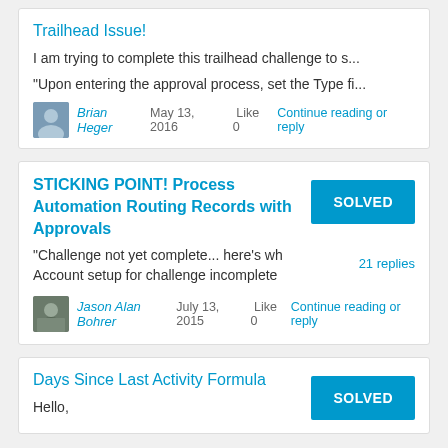Trailhead Issue!
I am trying to complete this trailhead challenge to s...
"Upon entering the approval process, set the Type fi...
Brian Heger  May 13, 2016  Like  0  Continue reading or reply
STICKING POINT! Process Automation Routing Records with Approvals
"Challenge not yet complete... here's wh  Account setup for challenge incomplete
21 replies
Jason Alan Bohrer  July 13, 2015  Like  0  Continue reading or reply
Days Since Last Activity Formula
Hello,